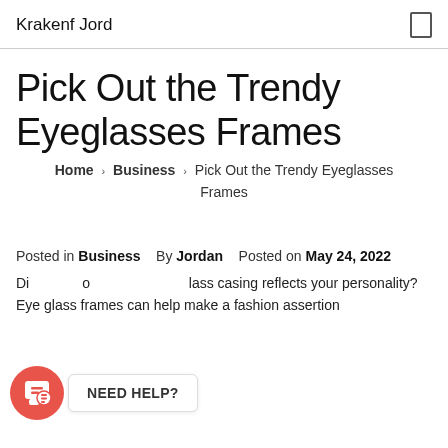Krakenf Jord
Pick Out the Trendy Eyeglasses Frames
Home › Business › Pick Out the Trendy Eyeglasses Frames
Posted in Business   By Jordan   Posted on May 24, 2022
Did you know that your eye glass casing reflects your personality? Eye glass frames can help make a fashion assertion